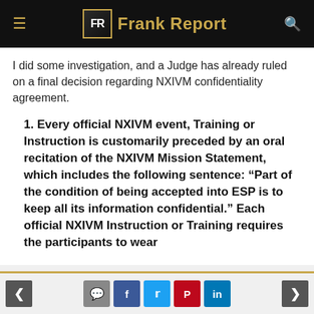Frank Report
I did some investigation, and a Judge has already ruled on a final decision regarding NXIVM confidentiality agreement.
1. Every official NXIVM event, Training or Instruction is customarily preceded by an oral recitation of the NXIVM Mission Statement, which includes the following sentence: “Part of the condition of being accepted into ESP is to keep all its information confidential.” Each official NXIVM Instruction or Training requires the participants to wear